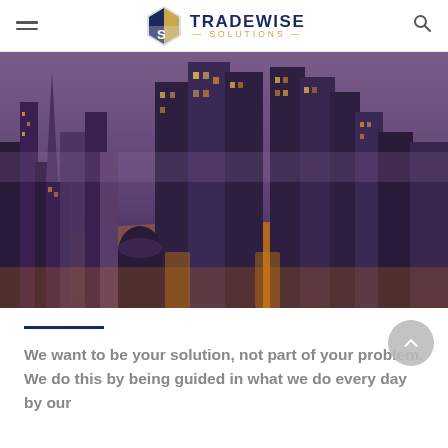TRADEWISE SOLUTIONS
[Figure (photo): Aerial night view of a city skyline with illuminated skyscrapers and highways, tinted in warm amber and purple tones, resembling Dubai or a similar major financial city.]
We want to be your solution, not part of your problem. We do this by being guided in what we do every day by our